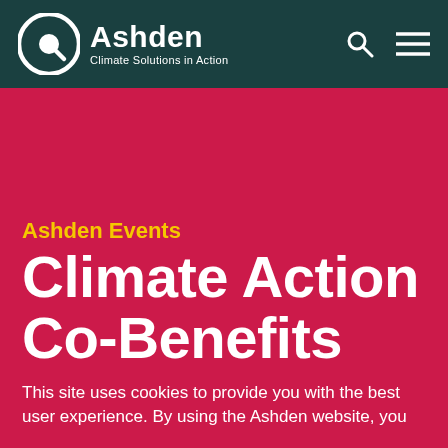Ashden — Climate Solutions in Action
Ashden Events
Climate Action Co-Benefits
This site uses cookies to provide you with the best user experience. By using the Ashden website, you